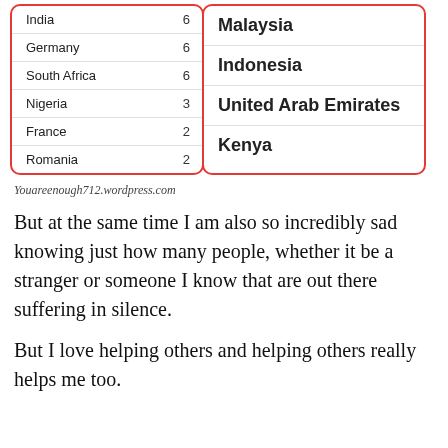| Country | Count |
| --- | --- |
| India | 6 |
| Germany | 6 |
| South Africa | 6 |
| Nigeria | 3 |
| France | 2 |
| Romania | 2 |
| Country |
| --- |
| Malaysia |
| Indonesia |
| United Arab Emirates |
| Kenya |
Youareenough712.wordpress.com
But at the same time I am also so incredibly sad knowing just how many people, whether it be a stranger or someone I know that are out there suffering in silence.
But I love helping others and helping others really helps me too.